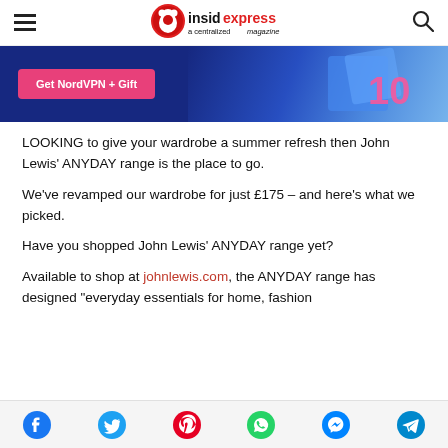insidexpress a centralized magazine
[Figure (screenshot): NordVPN advertisement banner with blue background and pink 'Get NordVPN + Gift' button]
LOOKING to give your wardrobe a summer refresh then John Lewis' ANYDAY range is the place to go.
We've revamped our wardrobe for just £175 – and here's what we picked.
Have you shopped John Lewis' ANYDAY range yet?
Available to shop at johnlewis.com, the ANYDAY range has designed "everyday essentials for home, fashion
Social share icons: Facebook, Twitter, Pinterest, WhatsApp, Messenger, Telegram